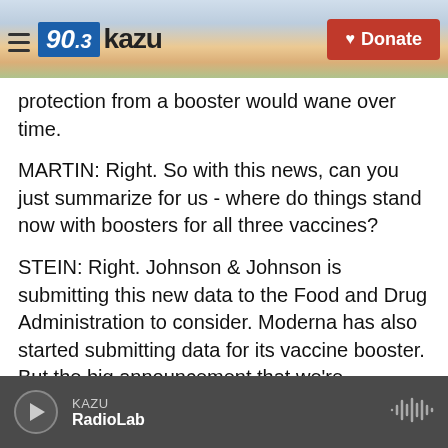90.3 KAZU — Donate
protection from a booster would wane over time.
MARTIN: Right. So with this news, can you just summarize for us - where do things stand now with boosters for all three vaccines?
STEIN: Right. Johnson & Johnson is submitting this new data to the Food and Drug Administration to consider. Moderna has also started submitting data for its vaccine booster. But the big announcement that we're expecting any time now is about the Pfizer booster. An FDA advisory panel on Friday recommended that the agency authorize a booster for people 65 and older, and for those who are at...
KAZU — RadioLab